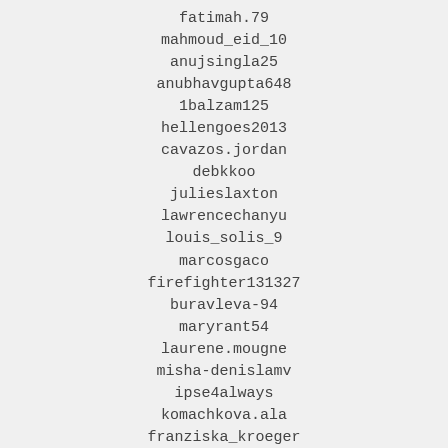fatimah.79
mahmoud_eid_10
anujsingla25
anubhavgupta648
1balzam125
hellengoes2013
cavazos.jordan
debkkoo
julieslaxton
lawrencechanyu
louis_solis_9
marcosgaco
firefighter131327
buravleva-94
maryrant54
laurene.mougne
misha-denislamv
ipse4always
komachkova.ala
franziska_kroeger
kendrashall
listonrt
coe649972
louie.justin